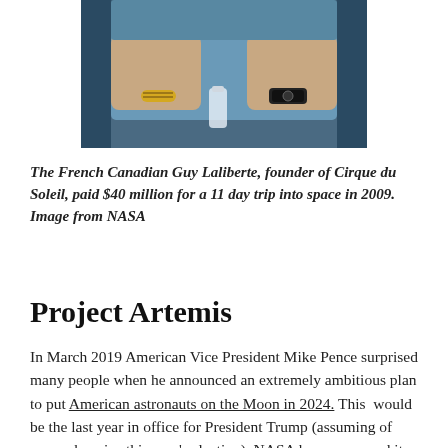[Figure (photo): Photo of a man in a blue shirt with a beaded bracelet and watch, seated at a table, cropped to show arms and torso]
The French Canadian Guy Laliberte, founder of Cirque du Soleil, paid $40 million for a 11 day trip into space in 2009. Image from NASA
Project Artemis
In March 2019 American Vice President Mike Pence surprised many people when he announced an extremely ambitious plan to put American astronauts on the Moon in 2024. This would be the last year in office for President Trump (assuming of course he wins this year's election). NASA has announced it…